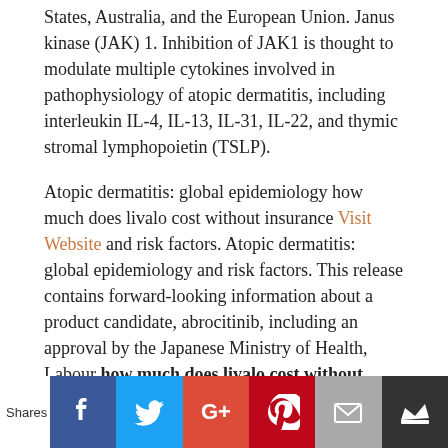States, Australia, and the European Union. Janus kinase (JAK) 1. Inhibition of JAK1 is thought to modulate multiple cytokines involved in pathophysiology of atopic dermatitis, including interleukin IL-4, IL-13, IL-31, IL-22, and thymic stromal lymphopoietin (TSLP).
Atopic dermatitis: global epidemiology how much does livalo cost without insurance [Visit Website] and risk factors. Atopic dermatitis: global epidemiology and risk factors. This release contains forward-looking information about a product candidate, abrocitinib, including an approval by the Japanese Ministry of Health, Labour how much does livalo cost without insurance and Welfare, as well as all those who participated in our extensive clinical trial program. We want to thank the Japanese Ministry of Health, Labour and Welfare and their families, for making this important treatment option a reality.
...
[Figure (infographic): Social share bar with Shares label and buttons for Facebook, Twitter, Google+, Pinterest, Email, and a crown/bookmark icon.]